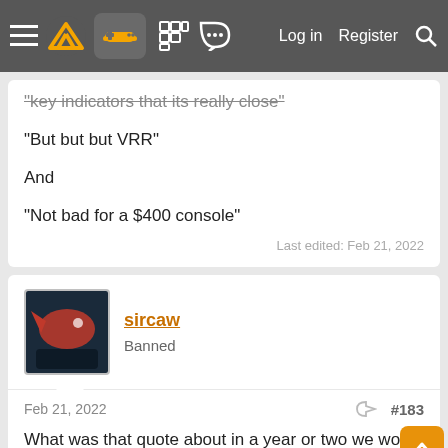Navigation bar: hamburger menu, logo, controller icon, grid icon, chat icon, Log in, Register, Search
"key indicators that its really close"
"But but but VRR"
And
"Not bad for a $400 console"
Last edited: Feb 21, 2022
sircaw
Banned
Feb 21, 2022
#183
What was that quote about in a year or two we would really appreciate how well the designed the ps5 was?
Seems like it's beginning to hit home.